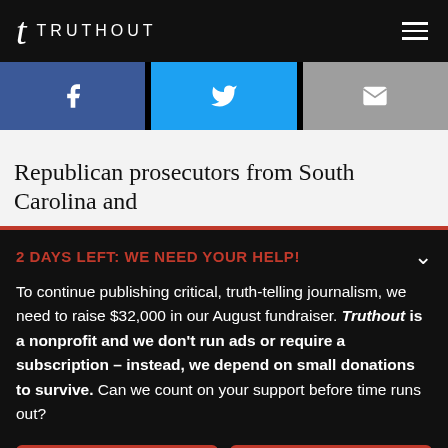TRUTHOUT
[Figure (screenshot): Social share buttons: Facebook (blue), Twitter (cyan), Email (gray)]
Republican prosecutors from South Carolina and
2 DAYS LEFT: WE NEED YOUR HELP!
To continue publishing critical, truth-telling journalism, we need to raise $32,000 in our August fundraiser. Truthout is a nonprofit and we don't run ads or require a subscription – instead, we depend on small donations to survive. Can we count on your support before time runs out?
DONATE
DONATE MONTHLY